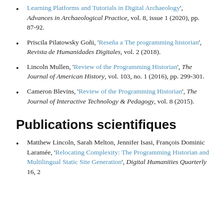Learning Platforms and Tutorials in Digital Archaeology', Advances in Archaeological Practice, vol. 8, issue 1 (2020), pp. 87-92.
Priscila Pilatowsky Goñi, 'Reseña a The programming historian', Revista de Humanidades Digitales, vol. 2 (2018).
Lincoln Mullen, 'Review of the Programming Historian', The Journal of American History, vol. 103, no. 1 (2016), pp. 299-301.
Cameron Blevins, 'Review of the Programming Historian', The Journal of Interactive Technology & Pedagogy, vol. 8 (2015).
Publications scientifiques
Matthew Lincoln, Sarah Melton, Jennifer Isasi, François Dominic Laramée, 'Relocating Complexity: The Programming Historian and Multilingual Static Site Generation', Digital Humanities Quarterly 16, 2